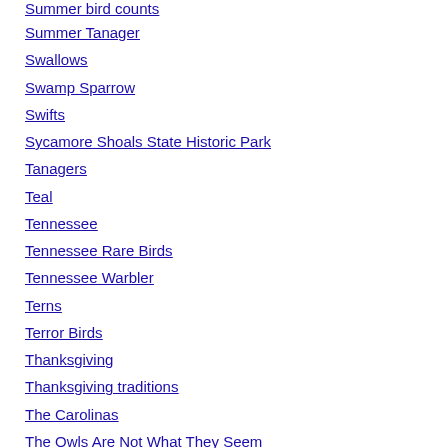Summer bird counts
Summer Tanager
Swallows
Swamp Sparrow
Swifts
Sycamore Shoals State Historic Park
Tanagers
Teal
Tennessee
Tennessee Rare Birds
Tennessee Warbler
Terns
Terror Birds
Thanksgiving
Thanksgiving traditions
The Carolinas
The Owls Are Not What They Seem
Thrashers
thrushes.